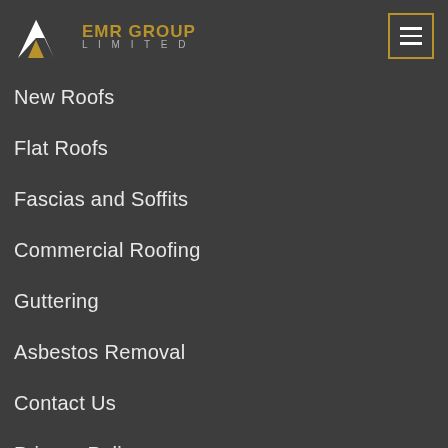[Figure (logo): EMR Group Limited logo with geometric mountain/chevron symbol in white and gold, company name in gold and grey]
New Roofs
Flat Roofs
Fascias and Soffits
Commercial Roofing
Guttering
Asbestos Removal
Contact Us
Privacy Policy